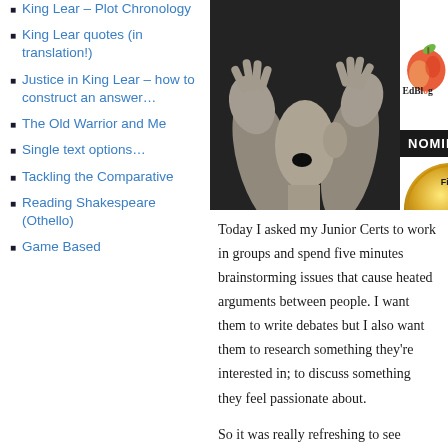King Lear – Plot Chronology
King Lear quotes (in translation!)
Justice in King Lear – how to construct an answer…
The Old Warrior and Me
Single text options…
Tackling the Comparative
Reading Shakespeare (Othello)
Game Based
[Figure (photo): Black and white photo of two hands around a face with mouth open, as if yelling or listening]
[Figure (logo): EdBlog logo with colorful apple graphic]
NOMINATION
[Figure (other): Gold badge: Finalist Most Influential Post of the Year, EDUBLOG, 20XX]
Today I asked my Junior Certs to work in groups and spend five minutes brainstorming issues that cause heated arguments between people. I want them to write debates but I also want them to research something they're interested in; to discuss something they feel passionate about.
So it was really refreshing to see
[Figure (other): Gold badge: Finalist Best... (partially visible)]